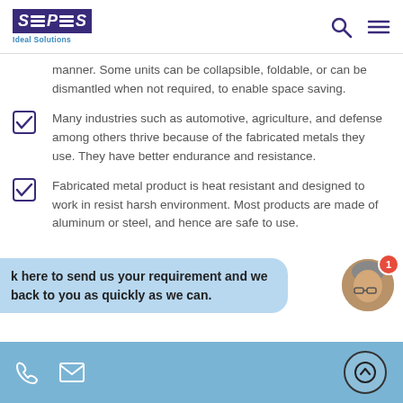SPS Ideal Solutions
manner. Some units can be collapsible, foldable, or can be dismantled when not required, to enable space saving.
Many industries such as automotive, agriculture, and defense among others thrive because of the fabricated metals they use. They have better endurance and resistance.
Fabricated metal product is heat resistant and designed to work in resist harsh environment. Most products are made of aluminum or steel, and hence are safe to use.
k here to send us your requirement and we back to you as quickly as we can.
Phone | Email | Scroll to top